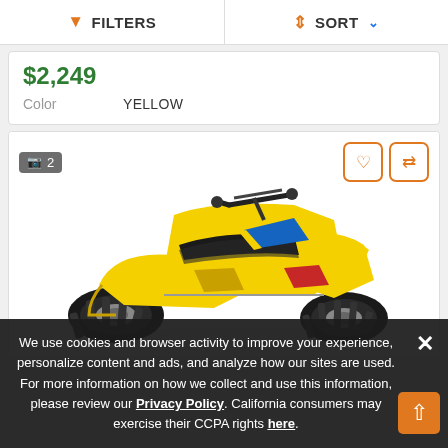FILTERS | SORT
$2,249
Color   YELLOW
[Figure (photo): Yellow Suzuki ATV quad bike, front-three-quarter view, with black seat and blue/yellow graphics, on white background. Image count badge showing 2, with favorite and compare action buttons.]
We use cookies and browser activity to improve your experience, personalize content and ads, and analyze how our sites are used. For more information on how we collect and use this information, please review our Privacy Policy. California consumers may exercise their CCPA rights here.